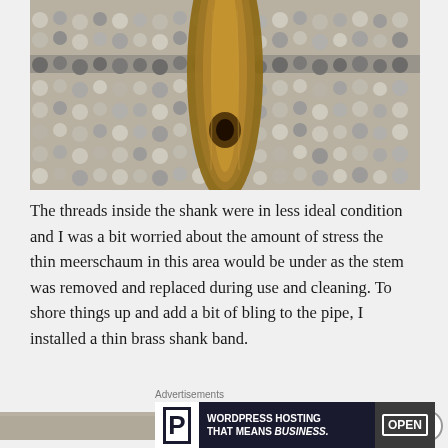[Figure (photo): Close-up photo of a meerschaum pipe shank resting on a textured woven rug with gray and beige tones. The wooden shank is visible from a top-down perspective.]
The threads inside the shank were in less ideal condition and I was a bit worried about the amount of stress the thin meerschaum in this area would be under as the stem was removed and replaced during use and cleaning. To shore things up and add a bit of bling to the pipe, I installed a thin brass shank band.
[Figure (photo): Partial photo visible at the bottom of the page, cropped.]
Advertisements
[Figure (other): Advertisement banner: WordPress Hosting That Means BUSINESS. with a P logo box and an OPEN sign image.]